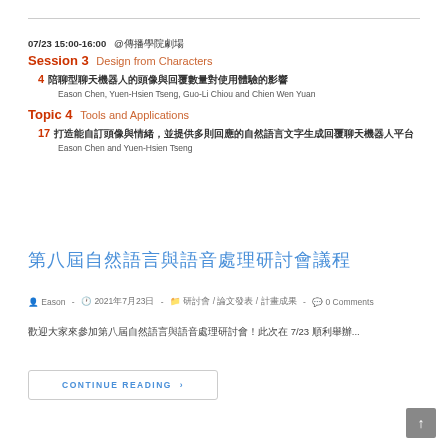07/23 15:00-16:00  @傳播學院劇場
Session 3  Design from Characters
4 陪聊型聊天機器人的頭像與回覆數量對使用體驗的影響
Eason Chen, Yuen-Hsien Tseng, Guo-Li Chiou and Chien Wen Yuan
Topic 4  Tools and Applications
17 打造能自訂頭像與情緒，並提供多則回應的自然語言文字生成回覆聊天機器人平台
Eason Chen and Yuen-Hsien Tseng
第八屆自然語言與語音處理研討會議程
Eason  -  2021年7月23日  -  研討會 / 論文發表 / 計畫成果  -  0 Comments
歡迎大家來參加第八屆自然語言與語音處理研討會！此次在 7/23 順利舉辦...
CONTINUE READING ›